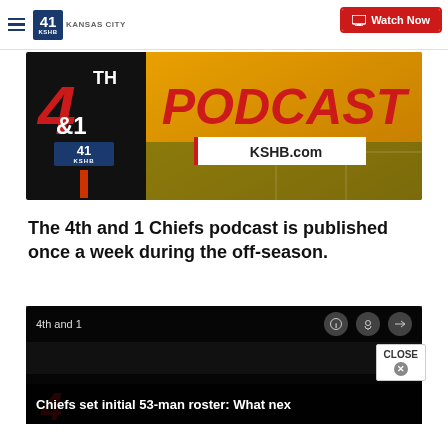KSHB 41 Kansas City | Watch Now
[Figure (screenshot): 4th and 1 KSHB Podcast banner image with red '4th & 1' logo on dark background and yellow 'PODCAST' text on golden background with KSHB.com URL box]
The 4th and 1 Chiefs podcast is published once a week during the off-season.
[Figure (screenshot): Podcast media player widget showing '4th and 1' label with info, podcast, and share icons, and title 'Chiefs set initial 53-man roster: What nex...' on dark background, with CLOSE button overlay]